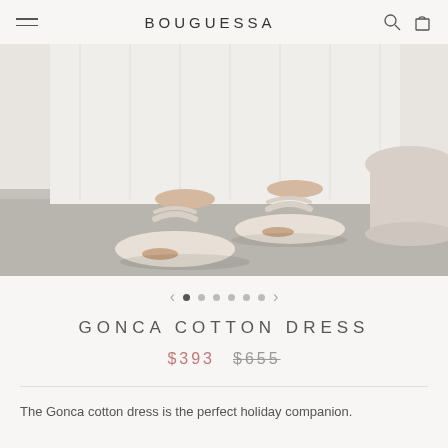BOUGUESSA
[Figure (photo): Close-up photo of a person wearing a white cotton dress and white thong sandals with ankle straps, standing on a grey concrete floor, with a large white round planter visible to the right.]
GONCA COTTON DRESS
$393  $655
The Gonca cotton dress is the perfect holiday companion.